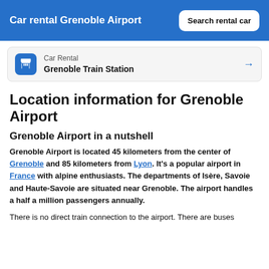Car rental Grenoble Airport
Car Rental
Grenoble Train Station
Location information for Grenoble Airport
Grenoble Airport in a nutshell
Grenoble Airport is located 45 kilometers from the center of Grenoble and 85 kilometers from Lyon. It's a popular airport in France with alpine enthusiasts. The departments of Isère, Savoie and Haute-Savoie are situated near Grenoble. The airport handles a half a million passengers annually.
There is no direct train connection to the airport. There are buses